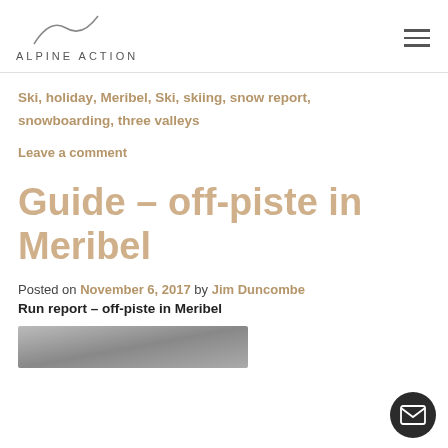ALPINE ACTION
Ski, holiday, Meribel, Ski, skiing, snow report, snowboarding, three valleys
Leave a comment
Guide – off-piste in Meribel
Posted on November 6, 2017 by Jim Duncombe
Run report – off-piste in Meribel
[Figure (photo): Partial view of an outdoor alpine/mountain photo, cropped at bottom of page]